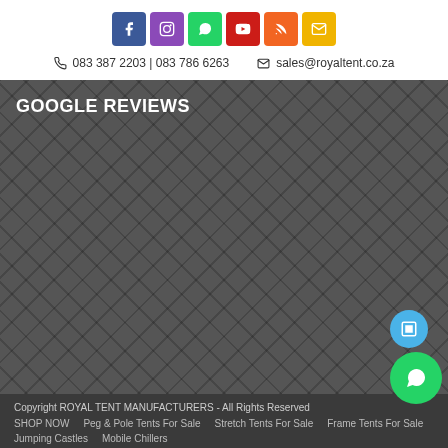[Figure (other): Row of 6 social media icon buttons: Facebook (blue), Instagram (purple), WhatsApp (green), YouTube (red), RSS (orange), Email (yellow)]
083 387 2203 | 083 786 6263    sales@royaltent.co.za
GOOGLE REVIEWS
Copyright ROYAL TENT MANUFACTURERS - All Rights Reserved
SHOP NOW    Peg & Pole Tents For Sale    Stretch Tents For Sale    Frame Tents For Sale    Jumping Castles    Mobile Chillers